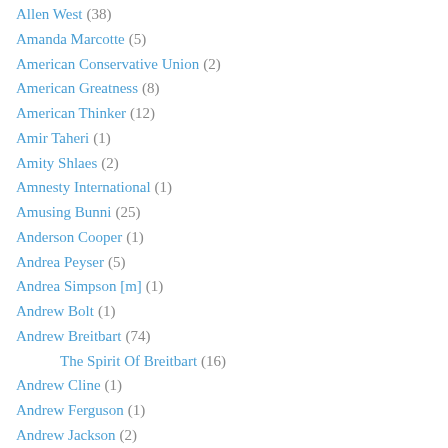Allen West (38)
Amanda Marcotte (5)
American Conservative Union (2)
American Greatness (8)
American Thinker (12)
Amir Taheri (1)
Amity Shlaes (2)
Amnesty International (1)
Amusing Bunni (25)
Anderson Cooper (1)
Andrea Peyser (5)
Andrea Simpson [m] (1)
Andrew Bolt (1)
Andrew Breitbart (74)
The Spirit Of Breitbart (16)
Andrew Cline (1)
Andrew Ferguson (1)
Andrew Jackson (2)
Andrew Johnson (1)
Andrew Klavan (2)